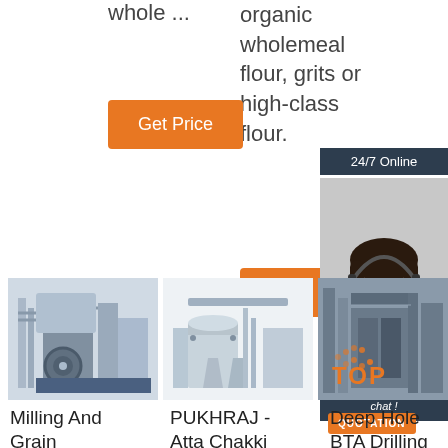whole ...
organic wholemeal flour, grits or high-class flour.
Get Price
Get Price
24/7 Online
[Figure (photo): Customer service agent woman with headset smiling]
Click here for free chat !
QUOTATION
[Figure (photo): Milling and grain industrial machinery]
[Figure (photo): PUKHRAJ Atta Chakki flour milling machine]
[Figure (photo): Deep Hole BTA Drilling machinery]
Milling And Grain
PUKHRAJ - Atta Chakki
Deep Hole BTA Drilling